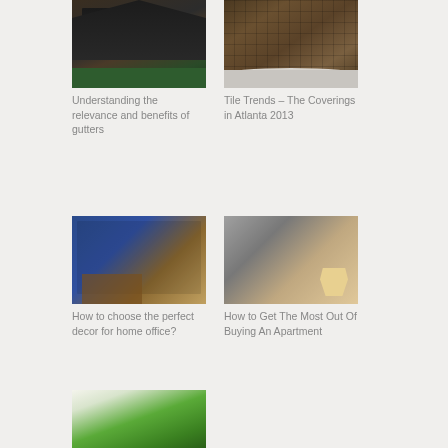[Figure (photo): Photo of a modern garage with dark wooden panels and a slate/dark roof, with green grass in the background]
Understanding the relevance and benefits of gutters
[Figure (photo): Photo of dark metallic tile coverings with a white bathtub edge visible at the bottom]
Tile Trends – The Coverings in Atlanta 2013
[Figure (photo): Photo of a home office interior with blue walls, wooden shelving, a desk and mid-century modern chair]
How to choose the perfect decor for home office?
[Figure (photo): Photo of two people shaking hands over a table with a small wooden house model and papers]
How to Get The Most Out Of Buying An Apartment
[Figure (photo): Photo of green plant leaves against a light background, partially visible at bottom of page]